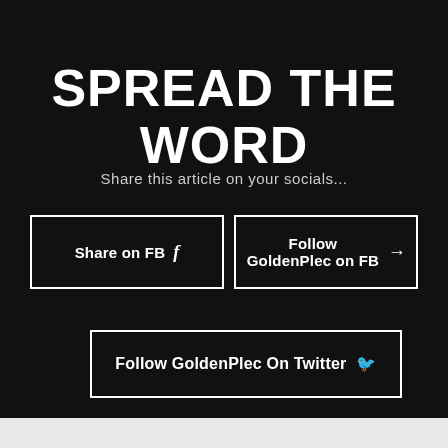SPREAD THE WORD
Share this article on your socials...
Share on FB  f
Follow GoldenPlec on FB →
Follow GoldenPlec On Twitter 🐦